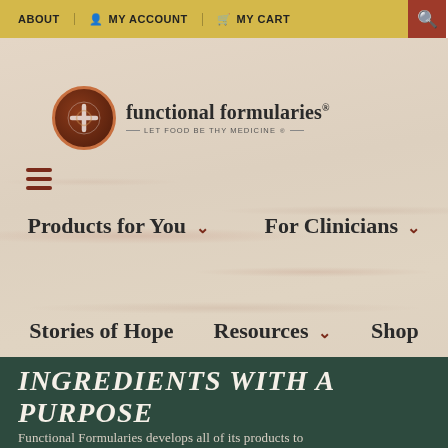ABOUT | MY ACCOUNT | MY CART
[Figure (logo): Functional Formularies logo — circular brown emblem with cross/plus symbol, brand name 'functional formularies' with trademark symbol, tagline 'LET FOOD BE THY MEDICINE']
Products for You ∨    For Clinicians ∨
Stories of Hope    Resources ∨    Shop
INGREDIENTS WITH A PURPOSE
Functional Formularies develops all of its products to